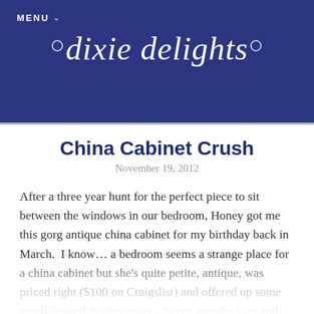MENU
[Figure (logo): Dixie Delights cursive script logo in white on dark navy blue background]
China Cabinet Crush
November 19, 2012
After a three year hunt for the perfect piece to sit between the windows in our bedroom, Honey got me this gorg antique china cabinet for my birthday back in March.  I know… a bedroom seems a strange place for a china cabinet but she's quite petite, antique, was priced right ($100 on Craigslist) and offered up some much desired display space.  Seven months later and I've just now gotten around to fixing her up.  (And by fixing it up I really mean putting stuff in it…